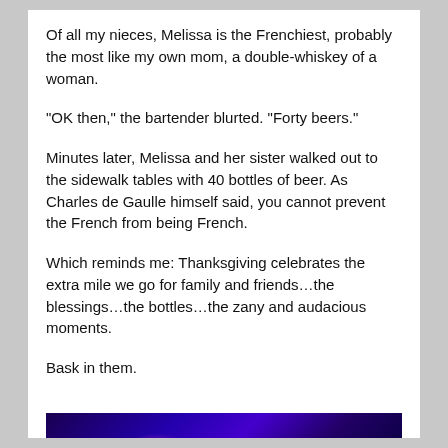Of all my nieces, Melissa is the Frenchiest, probably the most like my own mom, a double-whiskey of a woman.
“OK then,” the bartender blurted. “Forty beers.”
Minutes later, Melissa and her sister walked out to the sidewalk tables with 40 bottles of beer. As Charles de Gaulle himself said, you cannot prevent the French from being French.
Which reminds me: Thanksgiving celebrates the extra mile we go for family and friends…the blessings…the bottles…the zany and audacious moments.
Bask in them.
[Figure (photo): A dark photo with blue and purple lighting, appears to be a nightclub or concert scene with bottles visible in the foreground.]